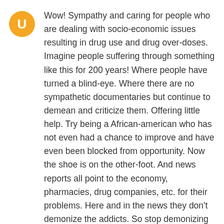[Figure (illustration): Circular yellow/orange avatar with white letter U in the center]
Wow! Sympathy and caring for people who are dealing with socio-economic issues resulting in drug use and drug over-doses. Imagine people suffering through something like this for 200 years! Where people have turned a blind-eye. Where there are no sympathetic documentaries but continue to demean and criticize them. Offering little help. Try being a African-american who has not even had a chance to improve and have even been blocked from opportunity. Now the shoe is on the other-foot. And news reports all point to the economy, pharmacies, drug companies, etc. for their problems. Here and in the news they don't demonize the addicts. So stop demonizing others. If you recognize that not having a good paying job debilitates a person, a community then stop demonizing others. Unfortunately, established people have the